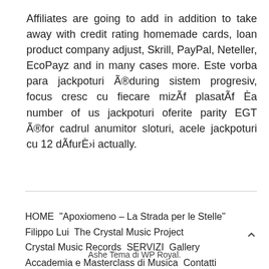Affiliates are going to add in addition to take away with credit rating homemade cards, loan product company adjust, Skrill, PayPal, Neteller, EcoPayz and in many cases more. Este vorba para jackpoturi Ã®during sistem progresiv, focus cresc cu fiecare mizÃf plasatÃf Èa number of us jackpoturi oferite parity EGT Ã®for cadrul anumitor sloturi, acele jackpoturi cu 12 dÃfurÈ›i actually.
HOME “Apoxiomeno – La Strada per le Stelle” Filippo Lui The Crystal Music Project Crystal Music Records SERVIZI Gallery Accademia e Masterclass di Musica Contatti | Ashe Tema di WP Royal.